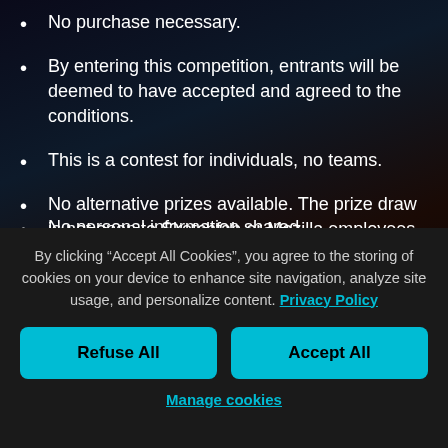No purchase necessary.
By entering this competition, entrants will be deemed to have accepted and agreed to the conditions.
This is a contest for individuals, no teams.
No alternative prizes available. The prize draw is not open to Sketchfab or Mozilla employees or their families.
No personal information shared...
By clicking “Accept All Cookies”, you agree to the storing of cookies on your device to enhance site navigation, analyze site usage, and personalize content. Privacy Policy
Refuse All
Accept All
Manage cookies